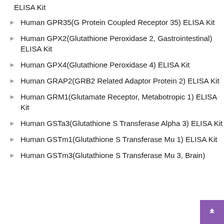ELISA Kit
Human GPR35(G Protein Coupled Receptor 35) ELISA Kit
Human GPX2(Glutathione Peroxidase 2, Gastrointestinal) ELISA Kit
Human GPX4(Glutathione Peroxidase 4) ELISA Kit
Human GRAP2(GRB2 Related Adaptor Protein 2) ELISA Kit
Human GRM1(Glutamate Receptor, Metabotropic 1) ELISA Kit
Human GSTa3(Glutathione S Transferase Alpha 3) ELISA Kit
Human GSTm1(Glutathione S Transferase Mu 1) ELISA Kit
Human GSTm3(Glutathione S Transferase Mu 3, Brain)